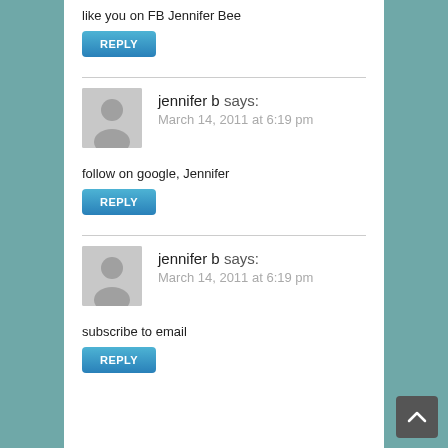like you on FB Jennifer Bee
REPLY
jennifer b says:
March 14, 2011 at 6:19 pm
follow on google, Jennifer
REPLY
jennifer b says:
March 14, 2011 at 6:19 pm
subscribe to email
REPLY